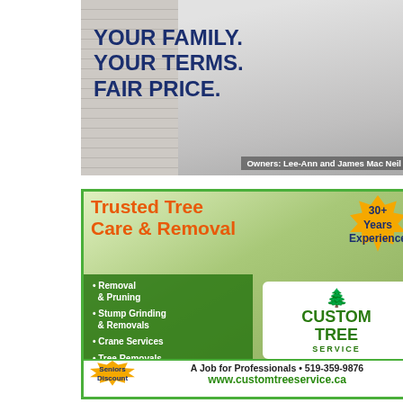[Figure (photo): Advertisement showing two people (Owners Lee-Ann and James Mac Neil) standing in front of a brick wall, with bold text YOUR FAMILY. YOUR TERMS. FAIR PRICE.]
[Figure (infographic): Custom Tree Service advertisement for Trusted Tree Care & Removal with 30+ Years Experience starburst badge, bullet list of services, logo, seniors discount badge, phone 519-359-9876, and website www.customtreeservice.ca]